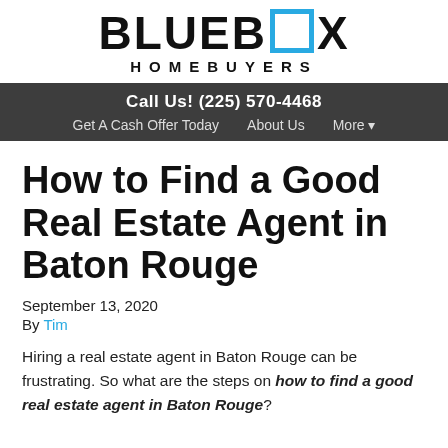BLUE BOX HOMEBUYERS
Call Us! (225) 570-4468
Get A Cash Offer Today   About Us   More ▾
How to Find a Good Real Estate Agent in Baton Rouge
September 13, 2020
By Tim
Hiring a real estate agent in Baton Rouge can be frustrating. So what are the steps on how to find a good real estate agent in Baton Rouge?